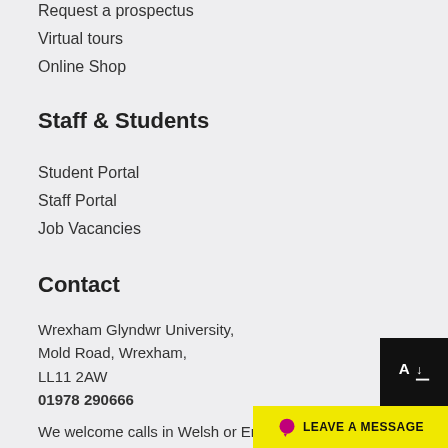Request a prospectus
Virtual tours
Online Shop
Staff & Students
Student Portal
Staff Portal
Job Vacancies
Contact
Wrexham Glyndwr University,
Mold Road, Wrexham,
LL11 2AW
01978 290666
We welcome calls in Welsh or English.